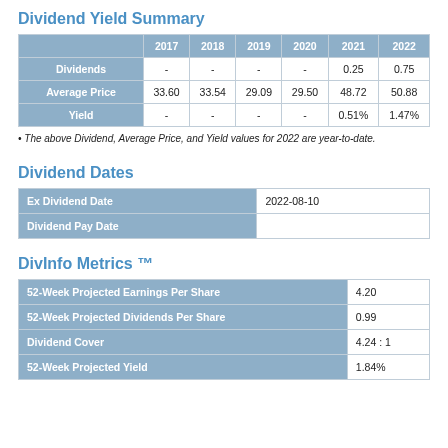Dividend Yield Summary
|  | 2017 | 2018 | 2019 | 2020 | 2021 | 2022 |
| --- | --- | --- | --- | --- | --- | --- |
| Dividends | - | - | - | - | 0.25 | 0.75 |
| Average Price | 33.60 | 33.54 | 29.09 | 29.50 | 48.72 | 50.88 |
| Yield | - | - | - | - | 0.51% | 1.47% |
• The above Dividend, Average Price, and Yield values for 2022 are year-to-date.
Dividend Dates
| Ex Dividend Date | 2022-08-10 |
| --- | --- |
| Dividend Pay Date |  |
DivInfo Metrics ™
| 52-Week Projected Earnings Per Share | 4.20 |
| 52-Week Projected Dividends Per Share | 0.99 |
| Dividend Cover | 4.24 : 1 |
| 52-Week Projected Yield | 1.84% |